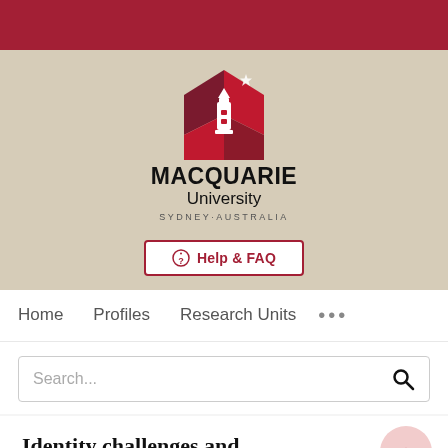[Figure (logo): Macquarie University logo with lighthouse and geometric shield in red/dark red, text: MACQUARIE University SYDNEY·AUSTRALIA]
⊕ Help & FAQ
Home   Profiles   Research Units   ...
Search...
Identity challenges and pedagogical consequences: